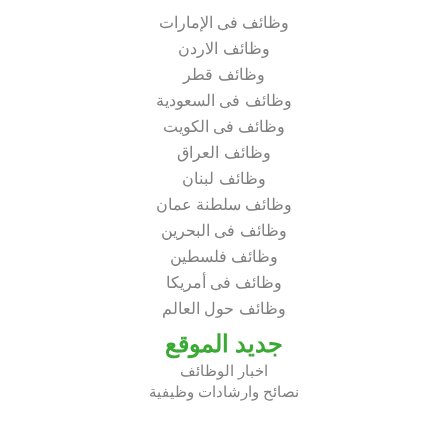وظائف فى الإمارات
وظائف الاردن
وظائف قطر
وظائف فى السعودية
وظائف فى الكويت
وظائف العراق
وظائف لبنان
وظائف سلطنة عمان
وظائف فى البحرين
وظائف فلسطين
وظائف فى أمريكا
وظائف حول العالم
جديد الموقع
اخبار الوظائف
نصائح وارشادات وظيفية